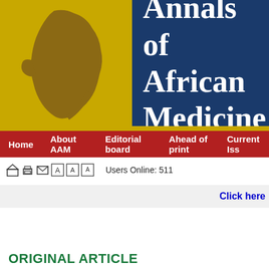[Figure (logo): Annals of African Medicine journal header with golden Africa map logo on left and dark blue title banner on right reading 'Annals of African Medicine']
Home   About AAM   Editorial board   Ahead of print   Current Issue
Users Online: 511
Click here
ORIGINAL ARTICLE
Year : 2017  |  Volume : 16  |  Issue : 2  |  Page : 70-73